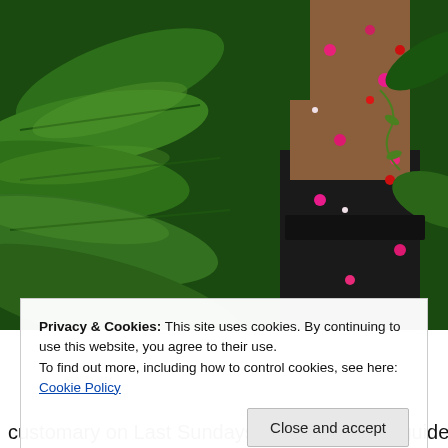[Figure (photo): A person wearing a black floral dress with pink and red flowers stands among large green tropical leaves in a lush garden setting.]
Privacy & Cookies: This site uses cookies. By continuing to use this website, you agree to their use.
To find out more, including how to control cookies, see here: Cookie Policy
Close and accept
customary on Last Sundays, admission and guided tours